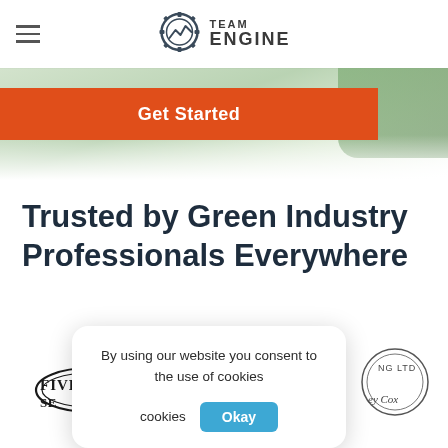Team Engine
[Figure (logo): Team Engine logo: gear icon with mountain/chart symbol and text TEAM ENGINE]
[Figure (photo): Hero background image showing green foliage/plants, partially faded with white gradient overlay]
Get Started
Trusted by Green Industry Professionals Everywhere
By using our website you consent to the use of cookies
[Figure (logo): Five Seasons logo (partially visible, oval shape with text FIVE SEASONS)]
[Figure (logo): Circular stamp-style logo (partially visible, text includes LTD and other partial text)]